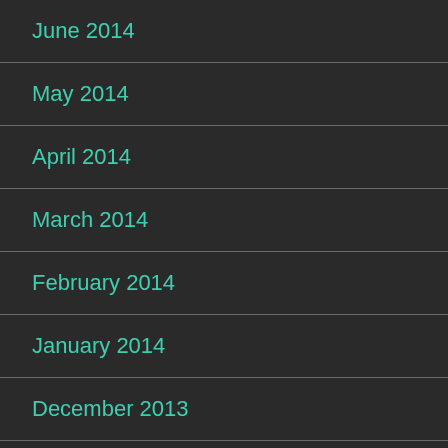June 2014
May 2014
April 2014
March 2014
February 2014
January 2014
December 2013
November 2013